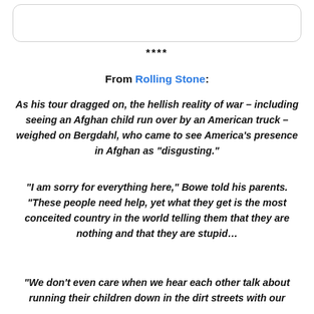****
From Rolling Stone:
As his tour dragged on, the hellish reality of war – including seeing an Afghan child run over by an American truck – weighed on Bergdahl, who came to see America's presence in Afghan as "disgusting."
"I am sorry for everything here," Bowe told his parents. "These people need help, yet what they get is the most conceited country in the world telling them that they are nothing and that they are stupid...
"We don't even care when we hear each other talk about running their children down in the dirt streets with our ...trucks."